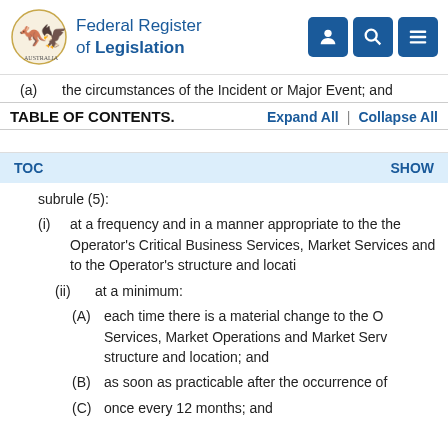Federal Register of Legislation
(a) the circumstances of the Incident or Major Event; and
TABLE OF CONTENTS.   Expand All | Collapse All
TOC   SHOW
subrule (5):
(i) at a frequency and in a manner appropriate to the the Operator's Critical Business Services, Market Services and to the Operator's structure and locati
(ii) at a minimum:
(A) each time there is a material change to the O Services, Market Operations and Market Serv structure and location; and
(B) as soon as practicable after the occurrence of
(C) once every 12 months; and